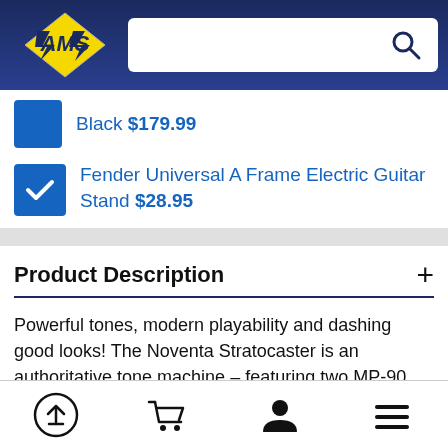AMS logo and search bar
Black $179.99
Fender Universal A Frame Electric Guitar Stand $28.95
Product Description
Powerful tones, modern playability and dashing good looks! The Noventa Stratocaster is an authoritative tone machine – featuring two MP-90 single-coil pickups, master volume and tone controls, and a hardtail Strat bridge – its striking good looks are matched by the midrange bite, crisp highs and
Navigation bar with upload, cart, account, and menu icons